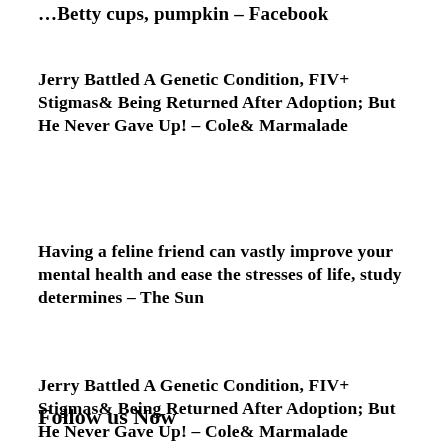…Betty cups, pumpkin – Facebook
Jerry Battled A Genetic Condition, FIV+ Stigmas& Being Returned After Adoption; But He Never Gave Up! – Cole& Marmalade
Having a feline friend can vastly improve your mental health and ease the stresses of life, study determines – The Sun
Jerry Battled A Genetic Condition, FIV+ Stigmas& Being Returned After Adoption; But He Never Gave Up! – Cole& Marmalade
Follow us Now